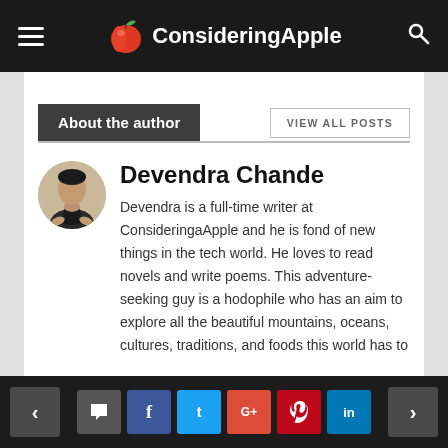ConsideringApple
About the author
VIEW ALL POSTS
[Figure (photo): Circular avatar photo of Devendra Chande]
Devendra Chande
Devendra is a full-time writer at ConsideringaApple and he is fond of new things in the tech world. He loves to read novels and write poems. This adventure-seeking guy is a hodophile who has an aim to explore all the beautiful mountains, oceans, cultures, traditions, and foods this world has to
< [comment] [f] [t] [G+] [Pinterest] [in] >